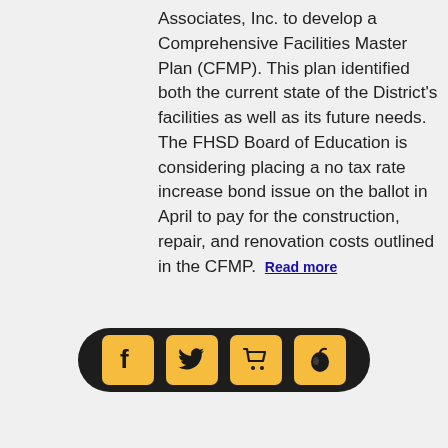Associates, Inc. to develop a Comprehensive Facilities Master Plan (CFMP). This plan identified both the current state of the District's facilities as well as its future needs. The FHSD Board of Education is considering placing a no tax rate increase bond issue on the ballot in April to pay for the construction, repair, and renovation costs outlined in the CFMP. Read more
[Figure (photo): US Department of Education seal on a white background]
Three FHSD Schools Honored as 2019 National Blue Ribbon Schools
Posted on 09/30/2019
The U.S. Department of Education has recognized Becky-David Elementary, Daniel Boone Elementary, and Warren Elementary as National Blue Ribbon Schools for 2019. The three Francis Howell School District schools received the prestigious award based on their exemplary high academic performance. Only five other elementary schools in
[Figure (infographic): Social media share bar with Facebook, Twitter, cart, and peach/apple icons on a dark pill-shaped background]